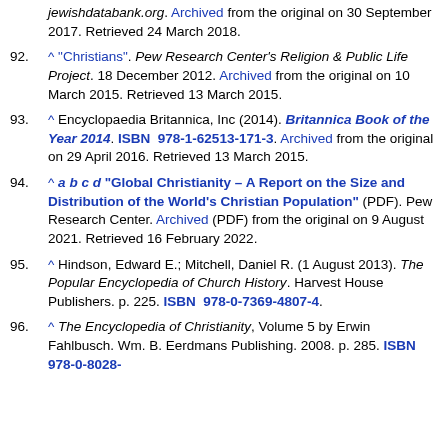jewishdatabank.org. Archived from the original on 30 September 2017. Retrieved 24 March 2018.
92. ^ "Christians". Pew Research Center's Religion & Public Life Project. 18 December 2012. Archived from the original on 10 March 2015. Retrieved 13 March 2015.
93. ^ Encyclopaedia Britannica, Inc (2014). Britannica Book of the Year 2014. ISBN 978-1-62513-171-3. Archived from the original on 29 April 2016. Retrieved 13 March 2015.
94. ^ a b c d "Global Christianity – A Report on the Size and Distribution of the World's Christian Population" (PDF). Pew Research Center. Archived (PDF) from the original on 9 August 2021. Retrieved 16 February 2022.
95. ^ Hindson, Edward E.; Mitchell, Daniel R. (1 August 2013). The Popular Encyclopedia of Church History. Harvest House Publishers. p. 225. ISBN 978-0-7369-4807-4.
96. ^ The Encyclopedia of Christianity, Volume 5 by Erwin Fahlbusch. Wm. B. Eerdmans Publishing. 2008. p. 285. ISBN 978-0-8028-